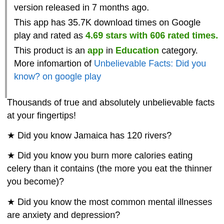First released on google play in 2 years ago and latest version released in 7 months ago. This app has 35.7K download times on Google play and rated as 4.69 stars with 606 rated times. This product is an app in Education category. More infomartion of Unbelievable Facts: Did you know? on google play
Thousands of true and absolutely unbelievable facts at your fingertips!
★ Did you know Jamaica has 120 rivers?
★ Did you know you burn more calories eating celery than it contains (the more you eat the thinner you become)?
★ Did you know the most common mental illnesses are anxiety and depression?
★ Did you know dinosaurs lived on earth for 165 million years